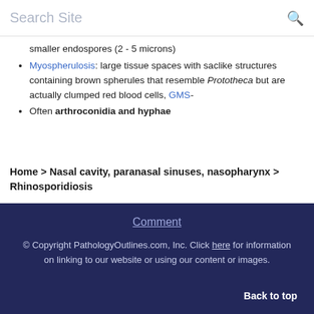Search Site
smaller endospores (2 - 5 microns)
Myospherulosis: large tissue spaces with saclike structures containing brown spherules that resemble Prototheca but are actually clumped red blood cells, GMS-
Often arthroconidia and hyphae
Home > Nasal cavity, paranasal sinuses, nasopharynx > Rhinosporidiosis
Comment
© Copyright PathologyOutlines.com, Inc. Click here for information on linking to our website or using our content or images.
Back to top